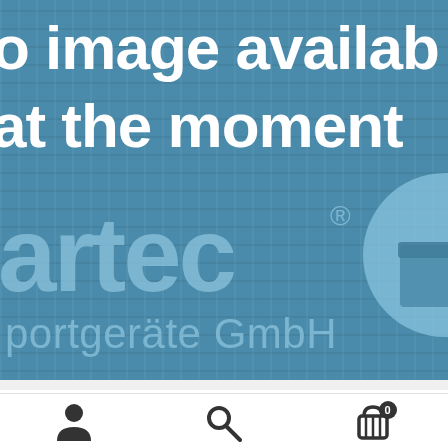[Figure (screenshot): A placeholder image from artec sportgeräte GmbH showing blue-tinted stadium background with text 'No image available at the moment' overlaid in white bold font, and the artec logo (text plus circle icon) in light blue. Below the image is a white navigation bar with user/account icon, search icon, and shopping cart icon with badge showing '0'.]